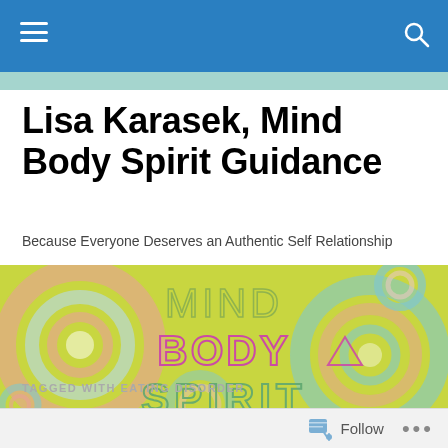Lisa Karasek, Mind Body Spirit Guidance
Lisa Karasek, Mind Body Spirit Guidance
Because Everyone Deserves an Authentic Self Relationship
[Figure (illustration): Colorful banner image with circular swirl patterns on a yellow-green background showing the words MIND BODY SPIRIT in stylized text]
TAGGED WITH EATING DISORDER